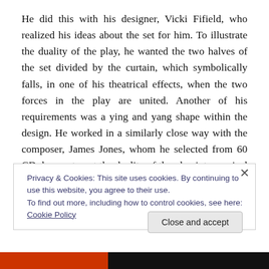He did this with his designer, Vicki Fifield, who realized his ideas about the set for him. To illustrate the duality of the play, he wanted the two halves of the set divided by the curtain, which symbolically falls, in one of his theatrical effects, when the two forces in the play are united. Another of his requirements was a ying and yang shape within the design. He worked in a similarly close way with the composer, James Jones, whom he selected from 60 CD demos, to put the duality of the play into musical terms: Gabriel represented by a cello, Conrad by a piano.
Privacy & Cookies: This site uses cookies. By continuing to use this website, you agree to their use. To find out more, including how to control cookies, see here: Cookie Policy
Close and accept